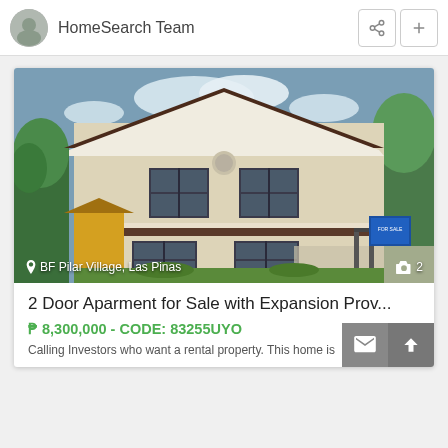HomeSearch Team
[Figure (photo): Two-storey apartment building with beige exterior, dark brown roof trim, iron gates, and green lawn in front. Located at BF Pilar Village, Las Pinas. A for-sale sign is visible near the gate. Shows 2 photos.]
2 Door Aparment for Sale with Expansion Prov...
₱ 8,300,000 - CODE: 83255UYO
Calling Investors who want a rental property. This home is